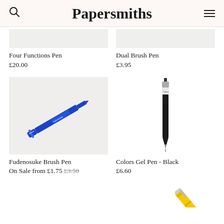Papersmiths
Four Functions Pen
£20.00
Dual Brush Pen
£3.95
[Figure (photo): Blue Fudenosuke brush pen diagonal on light grey background]
[Figure (photo): Black slim gel pen vertical on white background]
Fudenosuke Brush Pen
On Sale from £1.75 £3.50
Colors Gel Pen - Black
£6.60
[Figure (photo): Partial view of yellow pen at bottom right corner]